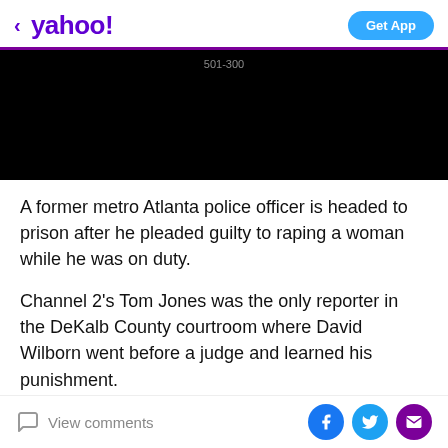< yahoo! | Get App
[Figure (screenshot): Black video player area with label '501-300']
A former metro Atlanta police officer is headed to prison after he pleaded guilty to raping a woman while he was on duty.
Channel 2's Tom Jones was the only reporter in the DeKalb County courtroom where David Wilborn went before a judge and learned his punishment.
[DOWNLOAD: Free WSB-TV News app for alerts as
View comments | Facebook | Twitter | Email